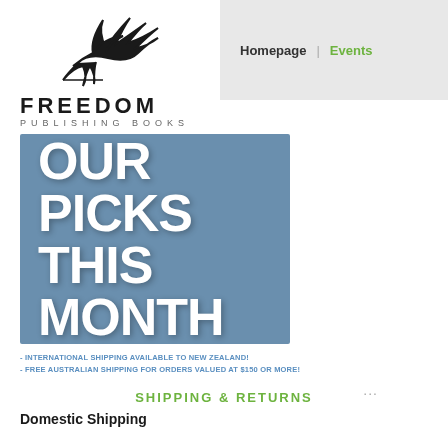[Figure (logo): Freedom Publishing Books bird/dove logo in black outline]
Homepage | Events
FREEDOM
PUBLISHING BOOKS
[Figure (infographic): Blue banner reading OUR PICKS THIS MONTH in large white bold text on steel blue background]
- INTERNATIONAL SHIPPING AVAILABLE TO NEW ZEALAND!
- FREE AUSTRALIAN SHIPPING FOR ORDERS VALUED AT $150 OR MORE!
SHIPPING & RETURNS
Domestic Shipping